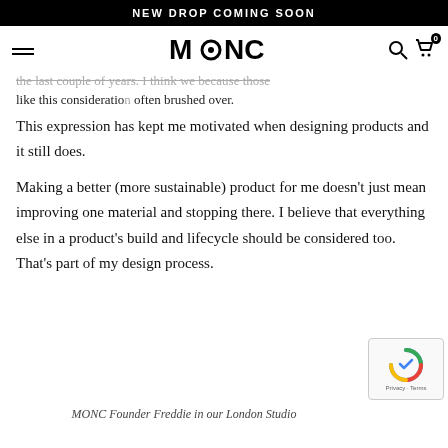NEW DROP COMING SOON
the last couple of years. I think we because those like this consideration often brushed over.
This expression has kept me motivated when designing products and it still does.
Making a better (more sustainable) product for me doesn't just mean improving one material and stopping there. I believe that everything else in a product's build and lifecycle should be considered too. That's part of my design process.
MONC Founder Freddie in our London Studio